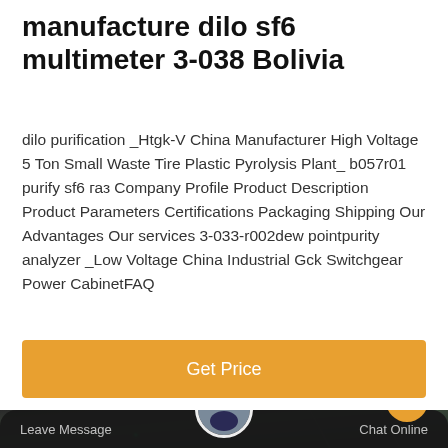manufacture dilo sf6 multimeter 3-038 Bolivia
dilo purification _Htgk-V China Manufacturer High Voltage 5 Ton Small Waste Tire Plastic Pyrolysis Plant_ b057r01 purify sf6 газ Company Profile Product Description Product Parameters Certifications Packaging Shipping Our Advantages Our services 3-033-r002dew pointpurity analyzer _Low Voltage China Industrial Gck Switchgear Power CabinetFAQ
[Figure (other): Orange 'Get Price' button]
[Figure (photo): Dark industrial interior photo with green light glow, overlaid with bottom navigation bar showing 'Leave Message' and 'Chat Online' with a customer service avatar in the center and an orange up-arrow button.]